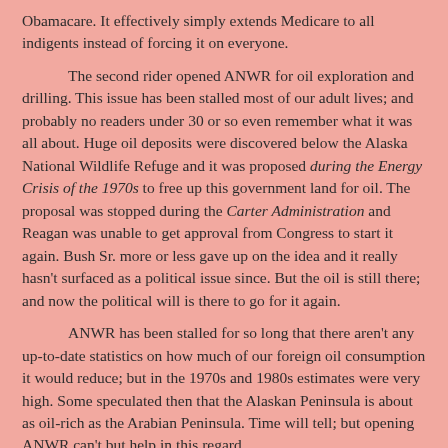Obamacare. It effectively simply extends Medicare to all indigents instead of forcing it on everyone.
The second rider opened ANWR for oil exploration and drilling. This issue has been stalled most of our adult lives; and probably no readers under 30 or so even remember what it was all about. Huge oil deposits were discovered below the Alaska National Wildlife Refuge and it was proposed during the Energy Crisis of the 1970s to free up this government land for oil. The proposal was stopped during the Carter Administration and Reagan was unable to get approval from Congress to start it again. Bush Sr. more or less gave up on the idea and it really hasn't surfaced as a political issue since. But the oil is still there; and now the political will is there to go for it again.
ANWR has been stalled for so long that there aren't any up-to-date statistics on how much of our foreign oil consumption it would reduce; but in the 1970s and 1980s estimates were very high. Some speculated then that the Alaskan Peninsula is about as oil-rich as the Arabian Peninsula. Time will tell; but opening ANWR can't but help in this regard.